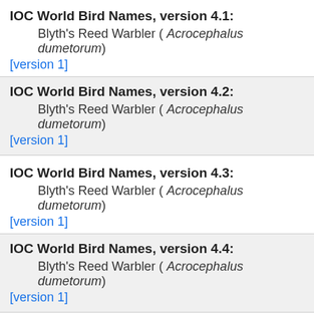IOC World Bird Names, version 4.1:
Blyth's Reed Warbler ( Acrocephalus dumetorum)
[version 1]
IOC World Bird Names, version 4.2:
Blyth's Reed Warbler ( Acrocephalus dumetorum)
[version 1]
IOC World Bird Names, version 4.3:
Blyth's Reed Warbler ( Acrocephalus dumetorum)
[version 1]
IOC World Bird Names, version 4.4:
Blyth's Reed Warbler ( Acrocephalus dumetorum)
[version 1]
IOC World Bird Names, version 5.1:
Blyth's Reed Warbler ( Acrocephalus dumetorum)
[version 1]